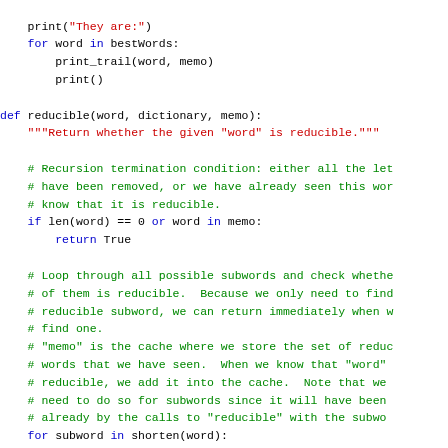Python code snippet showing reducible function with memoization